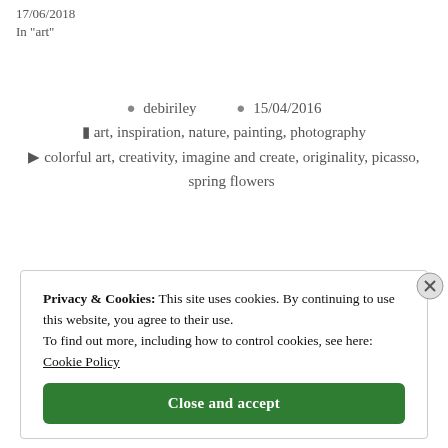17/06/2018
In "art"
debiriley   15/04/2016
art, inspiration, nature, painting, photography
colorful art, creativity, imagine and create, originality, picasso, spring flowers
Privacy & Cookies: This site uses cookies. By continuing to use this website, you agree to their use. To find out more, including how to control cookies, see here: Cookie Policy
Close and accept